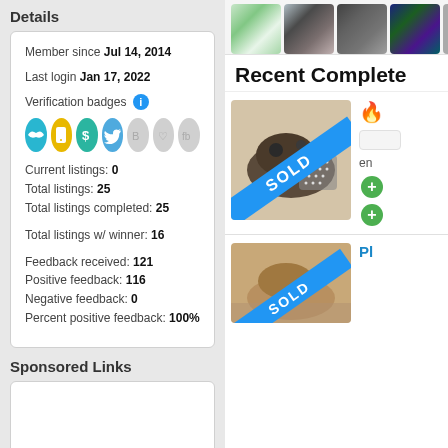Details
Member since Jul 14, 2014
Last login Jan 17, 2022
Verification badges
Current listings: 0
Total listings: 25
Total listings completed: 25
Total listings w/ winner: 16
Feedback received: 121
Positive feedback: 116
Negative feedback: 0
Percent positive feedback: 100%
Sponsored Links
[Figure (photo): Row of small profile thumbnail images at top right]
Recent Complete
[Figure (photo): Product listing image of decorative sandals with SOLD blue diagonal banner]
[Figure (photo): Second product listing image with SOLD blue diagonal banner, partial view]